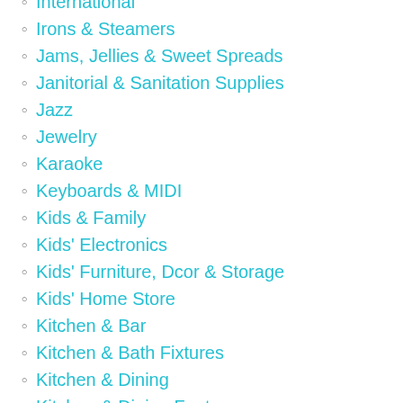International
Irons & Steamers
Jams, Jellies & Sweet Spreads
Janitorial & Sanitation Supplies
Jazz
Jewelry
Karaoke
Keyboards & MIDI
Kids & Family
Kids' Electronics
Kids' Furniture, Dcor & Storage
Kids' Home Store
Kitchen & Bar
Kitchen & Bath Fixtures
Kitchen & Dining
Kitchen & Dining Features